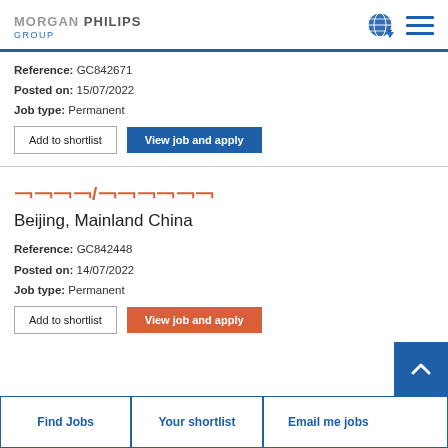MORGAN PHILIPS GROUP
Reference: GC842671
Posted on: 15/07/2022
Job type: Permanent
Add to shortlist | View job and apply
□□□□/□□□□□□
Beijing, Mainland China
Reference: GC842448
Posted on: 14/07/2022
Job type: Permanent
Add to shortlist | View job and apply
Find Jobs | Your shortlist | Email me jobs